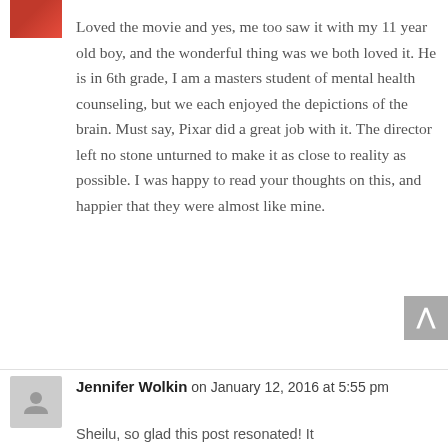[Figure (photo): Small thumbnail image of a movie poster with red/orange tones, partially visible at top left]
Loved the movie and yes, me too saw it with my 11 year old boy, and the wonderful thing was we both loved it. He is in 6th grade, I am a masters student of mental health counseling, but we each enjoyed the depictions of the brain. Must say, Pixar did a great job with it. The director left no stone unturned to make it as close to reality as possible. I was happy to read your thoughts on this, and happier that they were almost like mine.
[Figure (illustration): Gray scroll-to-top button with upward arrow chevron, positioned at right side]
[Figure (illustration): Gray placeholder avatar icon for Jennifer Wolkin comment]
Jennifer Wolkin on January 12, 2016 at 5:55 pm
Sheilu, so glad this post resonated! It